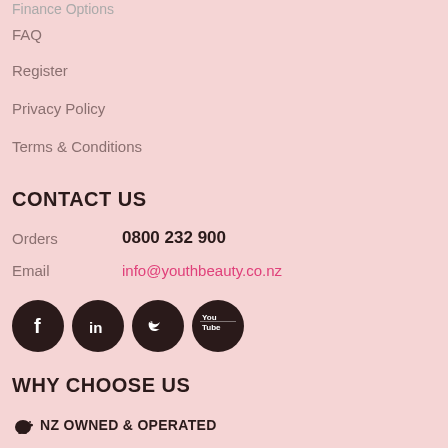Finance Options
FAQ
Register
Privacy Policy
Terms & Conditions
CONTACT US
Orders   0800 232 900
Email   info@youthbeauty.co.nz
[Figure (infographic): Social media icons: Facebook, LinkedIn, Twitter, YouTube — dark brown circles on pink background]
WHY CHOOSE US
NZ OWNED & OPERATED